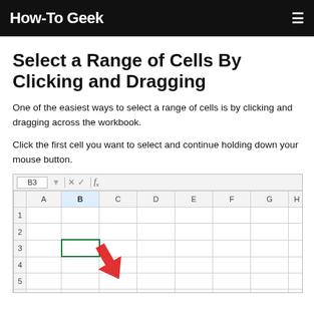How-To Geek
Select a Range of Cells By Clicking and Dragging
One of the easiest ways to select a range of cells is by clicking and dragging across the workbook.
Click the first cell you want to select and continue holding down your mouse button.
[Figure (screenshot): Screenshot of Microsoft Excel spreadsheet showing cell B3 selected (highlighted with green border) with a red arrow pointing to it. The formula bar shows 'B3'. Column headers A through I and row numbers 1 through 6 are visible.]